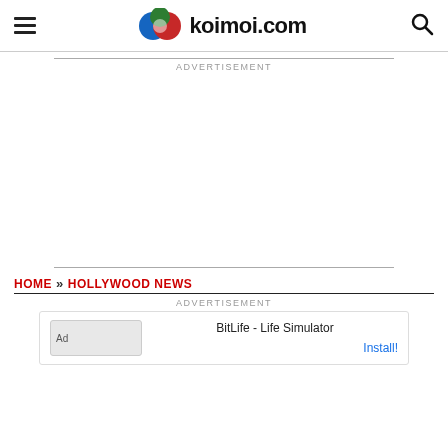koimoi.com
ADVERTISEMENT
HOME » HOLLYWOOD NEWS
ADVERTISEMENT
Ad  BitLife - Life Simulator  Install!